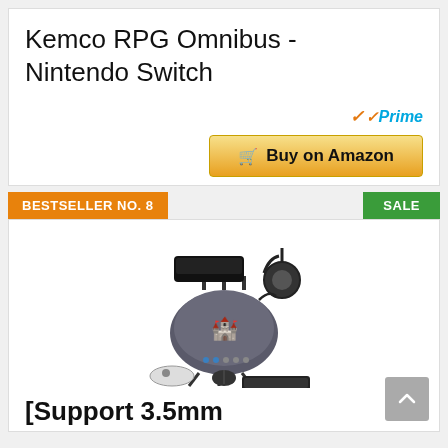Kemco RPG Omnibus - Nintendo Switch
[Figure (other): Amazon Prime badge with orange checkmark and blue 'Prime' text]
[Figure (other): Golden 'Buy on Amazon' button with shopping cart icon]
BESTSELLER NO. 8
SALE
[Figure (photo): Product image showing a gaming hub/switch device connected to a gaming console, headset, keyboard, mouse, and controller]
[Support 3.5mm